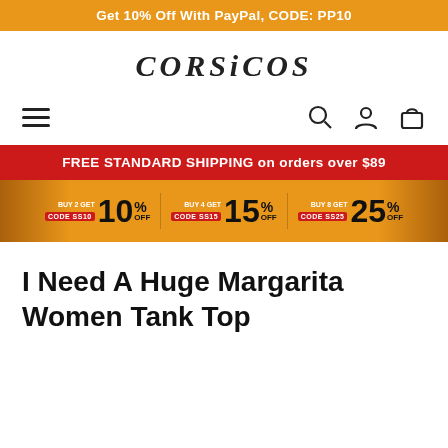Get 10% Off With PayPal, CODE: PP10
[Figure (logo): CORSICOS brand logo in serif italic font]
[Figure (infographic): Navigation bar with hamburger menu icon on left and search, account, cart icons on right]
FREE STANDARD SHIPPING on orders over $89
[Figure (infographic): Discount banner: BUY 2 GET CODE SS10 10% OFF | BUY 4 GET CODE SS15 15% OFF | BUY 8 GET CODE SS25 25% OFF]
I Need A Huge Margarita Women Tank Top